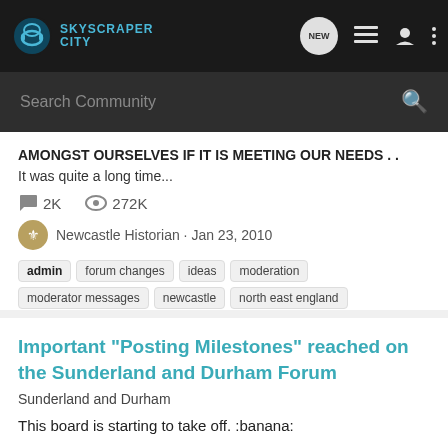[Figure (logo): SkyscraperCity logo with headphone icon and teal text on dark navigation bar]
Search Community
AMONGST OURSELVES IF IT IS MEETING OUR NEEDS . .
It was quite a long time...
2K  272K
Newcastle Historian · Jan 23, 2010
admin
forum changes
ideas
moderation
moderator messages
newcastle
north east england
suggestions
thread title changes
Important "Posting Milestones" reached on the Sunderland and Durham Forum
Sunderland and Durham
This board is starting to take off. :banana: